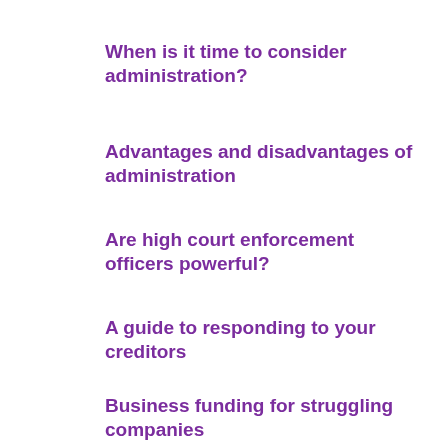When is it time to consider administration?
Advantages and disadvantages of administration
Are high court enforcement officers powerful?
A guide to responding to your creditors
Business funding for struggling companies
Advantages and disadvantages of a CVA